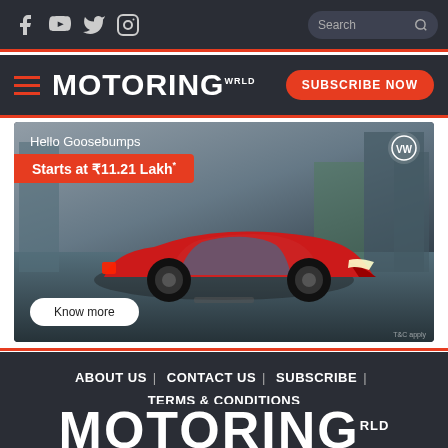Social icons: Facebook, YouTube, Twitter, Instagram | Search box
MOTORING WORLD | SUBSCRIBE NOW
[Figure (photo): Volkswagen car advertisement showing red sedan with text 'Hello Goosebumps', 'Starts at ₹11.21 Lakh*', and 'Know more' button]
ABOUT US | CONTACT US | SUBSCRIBE | TERMS & CONDITIONS
MOTORING WRLD